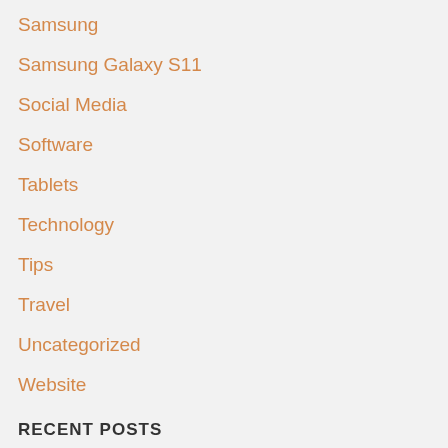Samsung
Samsung Galaxy S11
Social Media
Software
Tablets
Technology
Tips
Travel
Uncategorized
Website
RECENT POSTS